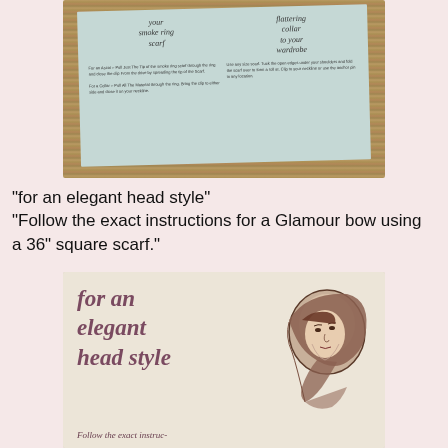[Figure (photo): Photo of a vintage scarf instruction leaflet on a wooden surface. The leaflet has a light teal/blue-green background. Left side shows 'your smoke ring scarf' in italic text with small illustrations. Right side shows 'flattering collar to your wardrobe' text. Small instruction text below each heading.]
"for an elegant head style"
"Follow the exact instructions for a Glamour bow using a 36" square scarf."
[Figure (photo): Photo of a vintage scarf instruction booklet page with cream/off-white background. Large italic purple/mauve text reads 'for an elegant head style' on the left. On the right is a vintage illustration of a woman wearing a head scarf. At the bottom it reads 'Follow the exact instruc-']